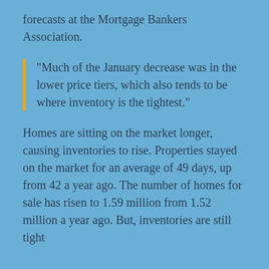forecasts at the Mortgage Bankers Association.
“Much of the January decrease was in the lower price tiers, which also tends to be where inventory is the tightest.”
Homes are sitting on the market longer, causing inventories to rise. Properties stayed on the market for an average of 49 days, up from 42 a year ago. The number of homes for sale has risen to 1.59 million from 1.52 million a year ago. But, inventories are still tight